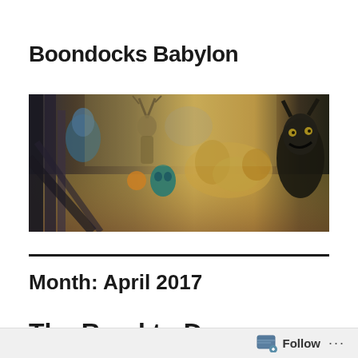Boondocks Babylon
[Figure (photo): A painting showing dark, dramatic figures including what appear to be a deer figure, masked figures, and reclining human forms in warm yellow and brown tones with dark accents.]
Month: April 2017
The Road to Damascus